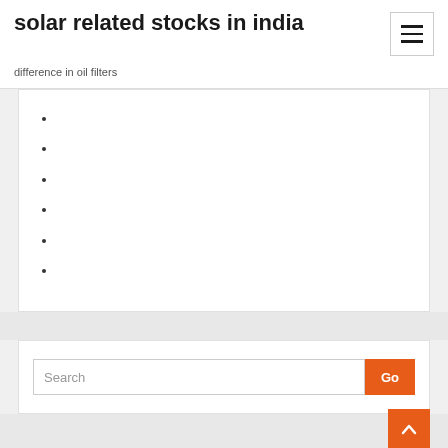solar related stocks in india
difference in oil filters
Search
Go